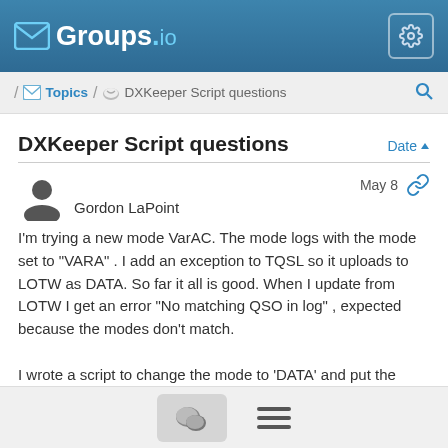Groups.io
/ Topics / DXKeeper Script questions
DXKeeper Script questions
Gordon LaPoint  May 8
I'm trying a new mode VarAC.  The mode logs with the mode set to "VARA" . I add an exception to TQSL so it uploads to LOTW as DATA.  So far it all is good.  When I update from LOTW I get an error "No matching QSO in log" , expected because the modes don't match.

I wrote a script to change the mode to 'DATA' and put the "VARA" in user  defined  3 so I can find all the VARA contacts in the future